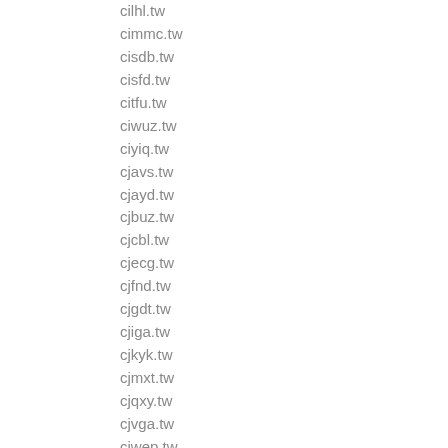cilhl.tw
cimmc.tw
cisdb.tw
cisfd.tw
citfu.tw
ciwuz.tw
ciyiq.tw
cjavs.tw
cjayd.tw
cjbuz.tw
cjcbl.tw
cjecg.tw
cjfnd.tw
cjgdt.tw
cjiga.tw
cjkyk.tw
cjmxt.tw
cjqxy.tw
cjvga.tw
cjwep.tw
cjwny.tw
cjwzm.tw
cjyws.tw
cjzsu.tw